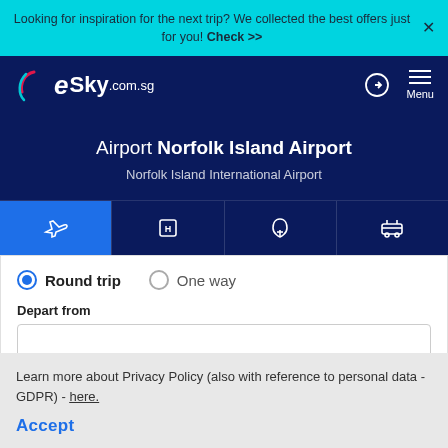Looking for inspiration for the next trip? We collected the best offers just for you! Check >>
[Figure (logo): eSky.com.sg logo in white on dark blue navigation bar]
Airport Norfolk Island Airport
Norfolk Island International Airport
[Figure (infographic): Four tab icons: airplane (active/blue), hotel H, insurance umbrella, bus/transfer]
Round trip
One way
Depart from
Learn more about Privacy Policy (also with reference to personal data - GDPR) - here.
Accept